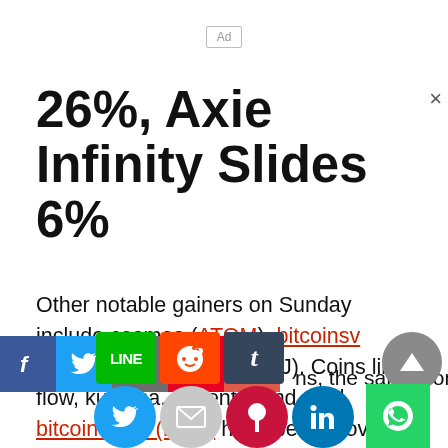[Figure (other): Ad placeholder box with label 'Ad']
26%, Axie Infinity Slides 6%
Other notable gainers on Sunday include cosmos (ATOM), bitcoinsv (BSV), and enjin coin (ENJ). Coins like flow, kusama, decentraland, and bitcoin cash (BCH) have been moving up the ladder as well in terms of 24-hour gains.
[Figure (other): Social share bar with Facebook, Twitter, WhatsApp, Pinterest, and more buttons, plus scroll-to-top button and bottom share icons including Twitter, email, Pinterest, LinkedIn, LINE, Reddit, Tumblr, WhatsApp]